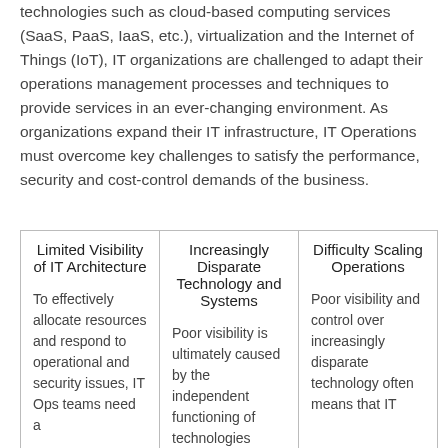technologies such as cloud-based computing services (SaaS, PaaS, IaaS, etc.), virtualization and the Internet of Things (IoT), IT organizations are challenged to adapt their operations management processes and techniques to provide services in an ever-changing environment. As organizations expand their IT infrastructure, IT Operations must overcome key challenges to satisfy the performance, security and cost-control demands of the business.
| Limited Visibility of IT Architecture | Increasingly Disparate Technology and Systems | Difficulty Scaling Operations |
| --- | --- | --- |
| To effectively allocate resources and respond to operational and security issues, IT Ops teams need a | Poor visibility is ultimately caused by the independent functioning of technologies | Poor visibility and control over increasingly disparate technology often means that IT |